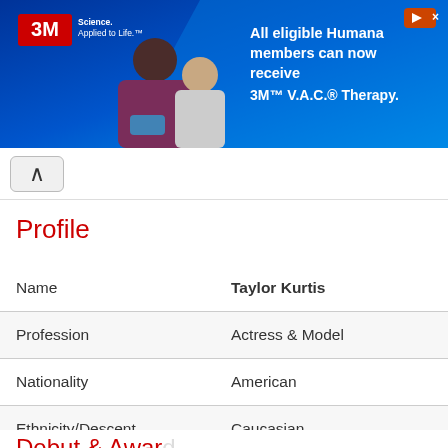[Figure (photo): 3M advertisement banner: 3M logo with tagline 'Science. Applied to Life.' featuring an image of a nurse with a patient, and text 'All eligible Humana members can now receive 3M V.A.C. Therapy.' on a blue gradient background.]
Profile
| Field | Value |
| --- | --- |
| Name | Taylor Kurtis |
| Profession | Actress & Model |
| Nationality | American |
| Ethnicity/Descent | Caucasian |
| Years Active | 2005 - 2011 |
| Net Worth (approx.) | 250K USD |
Debut & Awards